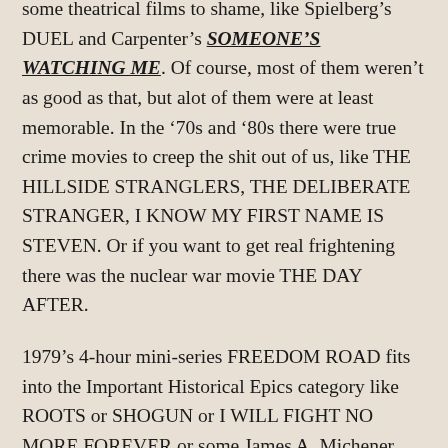some theatrical films to shame, like Spielberg's DUEL and Carpenter's SOMEONE'S WATCHING ME. Of course, most of them weren't as good as that, but alot of them were at least memorable. In the '70s and '80s there were true crime movies to creep the shit out of us, like THE HILLSIDE STRANGLERS, THE DELIBERATE STRANGER, I KNOW MY FIRST NAME IS STEVEN. Or if you want to get real frightening there was the nuclear war movie THE DAY AFTER.
1979's 4-hour mini-series FREEDOM ROAD fits into the Important Historical Epics category like ROOTS or SHOGUN or I WILL FIGHT NO MORE FOREVER or some James A. Michener type shit. It's about a man who was formerly a slave and becomes a leader and...